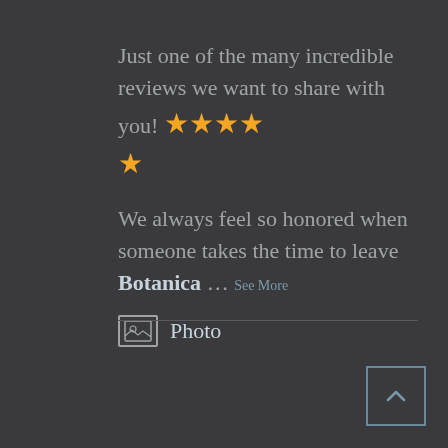Just one of the many incredible reviews we want to share with you! ★★★★★
We always feel so honored when someone takes the time to leave Botanica ... See More
📷 Photo
[Figure (other): Back to top button — a square outlined button with an upward chevron arrow icon]